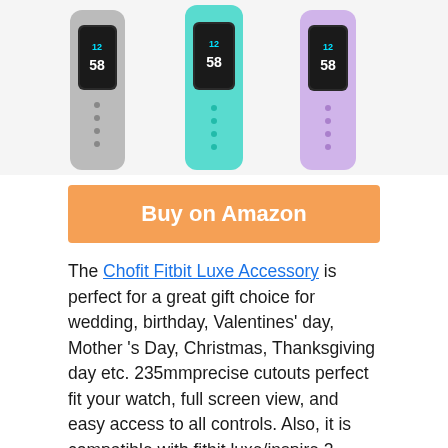[Figure (photo): Three Fitbit Luxe fitness tracker bands with bumper cases in gray, teal/cyan, and purple/lavender colors, showing digital clock displays reading 12:58]
Buy on Amazon
The Chofit Fitbit Luxe Accessory is perfect for a great gift choice for wedding, birthday, Valentines' day, Mother 's Day, Christmas, Thanksgiving day etc. 235mmprecise cutouts perfect fit your watch, full screen view, and easy access to all controls. Also, it is compatible with fitbit luxe/inspire 2 /inspire/inspire hr/ace 2/ace 3 band with bumper case, clear band with rugged bumper case. Accessories compatible with Fitbit luxe tracker. Lastly, the chofit fitbit luxe accessory is available in purple, yellow, pink